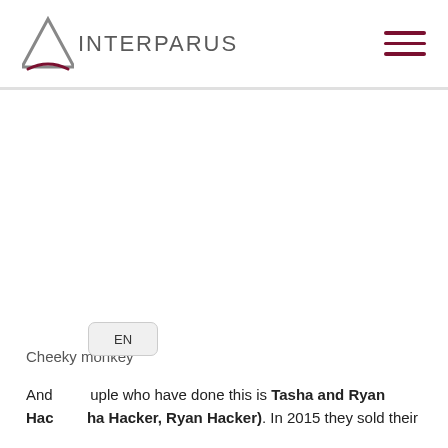INTERPARUS
Cheeky monkey
And couple who have done this is Tasha and Ryan Hacker (Tasha Hacker, Ryan Hacker). In 2015 they sold their